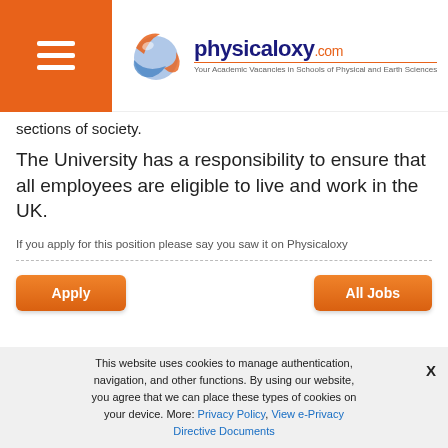physicaloxy.com — Your Academic Vacancies in Schools of Physical and Earth Sciences
sections of society.
The University has a responsibility to ensure that all employees are eligible to live and work in the UK.
If you apply for this position please say you saw it on Physicaloxy
[Figure (other): Apply button (orange rounded rectangle) and All Jobs button (orange rounded rectangle)]
[Figure (other): Social media icons: Facebook, Twitter, LinkedIn]
This website uses cookies to manage authentication, navigation, and other functions. By using our website, you agree that we can place these types of cookies on your device. More: Privacy Policy, View e-Privacy Directive Documents